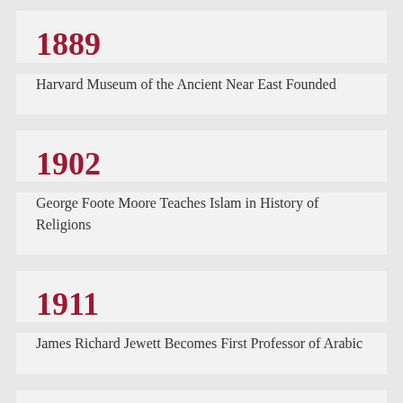1889
Harvard Museum of the Ancient Near East Founded
1902
George Foote Moore Teaches Islam in History of Religions
1911
James Richard Jewett Becomes First Professor of Arabic
1919